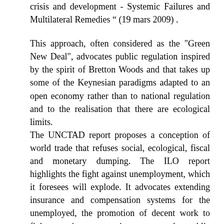crisis and development - Systemic Failures and Multilateral Remedies " (19 mars 2009) .
This approach, often considered as the "Green New Deal", advocates public regulation inspired by the spirit of Bretton Woods and that takes up some of the Keynesian paradigms adapted to an open economy rather than to national regulation and to the realisation that there are ecological limits.
The UNCTAD report proposes a conception of world trade that refuses social, ecological, fiscal and monetary dumping. The ILO report highlights the fight against unemployment, which it foresees will explode. It advocates extending insurance and compensation systems for the unemployed, the promotion of decent work to fight against precariousness and public investments in infrastructures and housing as well as in green jobs (see its report "Green Jobs: Towards decent work in a sustainable, low-carbon world", (September